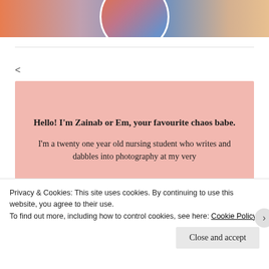[Figure (photo): Partial circular profile photo of a person at the top of the page, with colorful background in orange, pink, and blue tones]
<
[Figure (infographic): Pink background card with blog author introduction text]
Hello! I'm Zainab or Em, your favourite chaos babe.
I'm a twenty one year old nursing student who writes and dabbles into photography at my very
Privacy & Cookies: This site uses cookies. By continuing to use this website, you agree to their use.
To find out more, including how to control cookies, see here: Cookie Policy
Close and accept